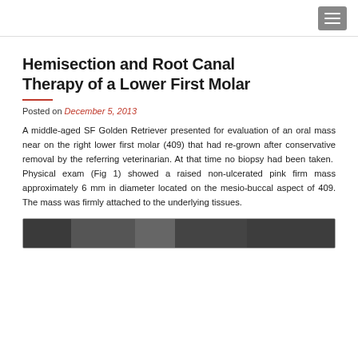Hemisection and Root Canal Therapy of a Lower First Molar
Posted on December 5, 2013
A middle-aged SF Golden Retriever presented for evaluation of an oral mass near on the right lower first molar (409) that had re-grown after conservative removal by the referring veterinarian. At that time no biopsy had been taken. Physical exam (Fig 1) showed a raised non-ulcerated pink firm mass approximately 6 mm in diameter located on the mesio-buccal aspect of 409. The mass was firmly attached to the underlying tissues.
[Figure (photo): Clinical photograph of the oral mass near the lower first molar]